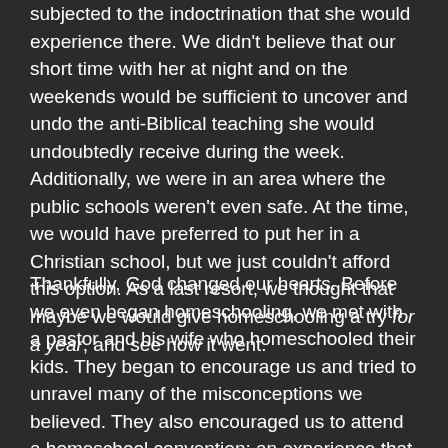subjected to the indoctrination that she would experience there. We didn't believe that our short time with her at night and on the weekends would be sufficient to uncover and undo the anti-Biblical teaching she would undoubtedly receive during the week. Additionally, we were in an area where the public schools weren't even safe. At the time, we would have preferred to put her in a Christian school, but we just couldn't afford this option. As a last resort, we thought that maybe we would give homeschooling a try for a year, and see how it went.
Thankfully, God changed our hearts. Before we even began homeschooling, we met with a pastor and his wife who homeschooled their kids. They began to encourage us and tried to unravel many of the misconceptions we believed. They also encouraged us to attend a homeschool convention; an experience that was both